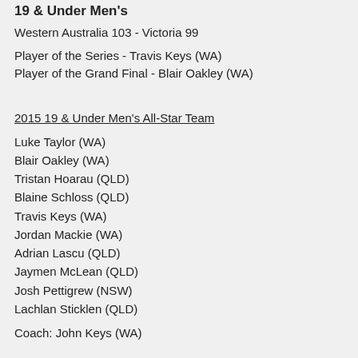19 & Under Men's
Western Australia 103 - Victoria 99
Player of the Series - Travis Keys (WA)
Player of the Grand Final - Blair Oakley (WA)
2015 19 & Under Men's All-Star Team
Luke Taylor (WA)
Blair Oakley (WA)
Tristan Hoarau (QLD)
Blaine Schloss (QLD)
Travis Keys (WA)
Jordan Mackie (WA)
Adrian Lascu (QLD)
Jaymen McLean (QLD)
Josh Pettigrew (NSW)
Lachlan Sticklen (QLD)
Coach: John Keys (WA)